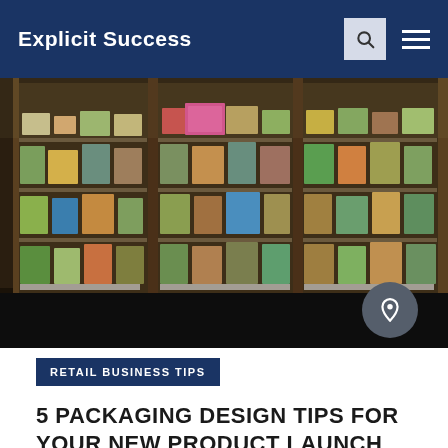Explicit Success
[Figure (photo): Refrigerated grocery store display cases stocked with packaged food products on multiple shelves, viewed through glass doors]
RETAIL BUSINESS TIPS
5 PACKAGING DESIGN TIPS FOR YOUR NEW PRODUCT LAUNCH